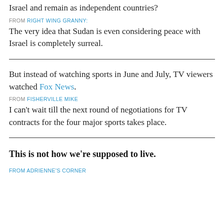Israel and remain as independent countries?
FROM RIGHT WING GRANNY:
The very idea that Sudan is even considering peace with Israel is completely surreal.
But instead of watching sports in June and July, TV viewers watched Fox News.
FROM FISHERVILLE MIKE
I can't wait till the next round of negotiations for TV contracts for the four major sports takes place.
This is not how we're supposed to live.
FROM ADRIENNE'S CORNER